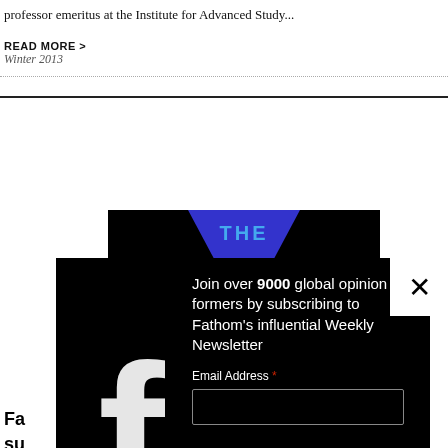professor emeritus at the Institute for Advanced Study...
READ MORE >
Winter 2013
[Figure (screenshot): A black magazine cover with blue trapezoidal shape and text 'THE' visible, partially obscured by a dark newsletter signup popup overlay with a white X close button, a large white Facebook 'f' logo on the left, and newsletter signup text reading: 'Join over 9000 global opinion formers by subscribing to Fathom's influential Weekly Newsletter' with an Email Address field below. Partial text 'Fa' and 'su' visible on left behind overlay.]